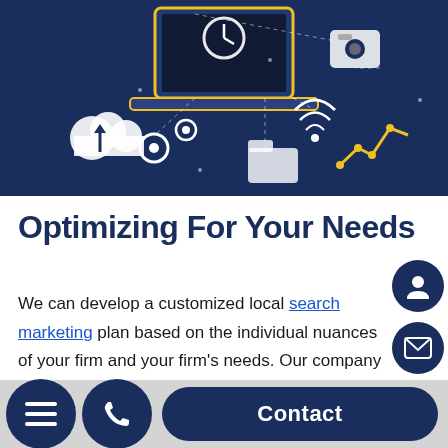[Figure (illustration): Dark navy blue banner with technology/digital marketing illustration: laptop, camera, gear icons, cloud, wifi symbol, analytics chart, connected by dotted lines on dark blue background]
Optimizing For Your Needs
We can develop a customized local search marketing plan based on the individual nuances of your firm and your firm's needs. Our company can take the time to research effective tools and understand the unique needs of your firm. Our customized approach can ensure you get relevant visitors who are actively seeking the services you offer in the practice areas you specialize in.